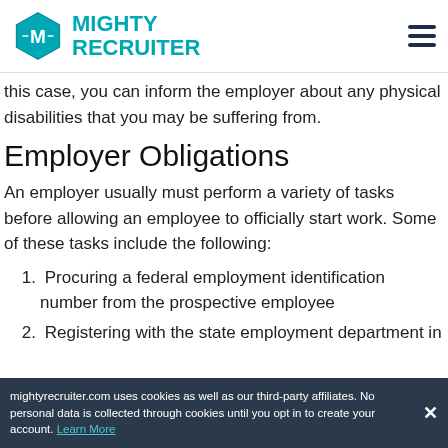Mighty Recruiter
this case, you can inform the employer about any physical disabilities that you may be suffering from.
Employer Obligations
An employer usually must perform a variety of tasks before allowing an employee to officially start work. Some of these tasks include the following:
1. Procuring a federal employment identification number from the prospective employee
2. Registering with the state employment department in
mightyrecruiter.com uses cookies as well as our third-party affiliates. No personal data is collected through cookies until you opt in to create your account. Learn More